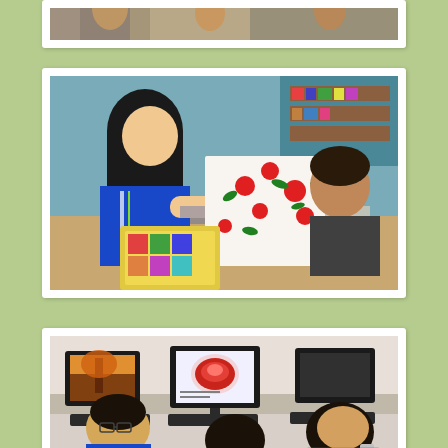[Figure (photo): Partial view of students in a classroom setting, top portion only visible]
[Figure (photo): A female student in a blue uniform showing a colorful artwork with red and green floral patterns to another student in a classroom with blue walls and bookshelves]
[Figure (photo): Students in blue uniforms working at computers in a computer lab, with monitors showing colorful images including autumn foliage and a red glowing object]